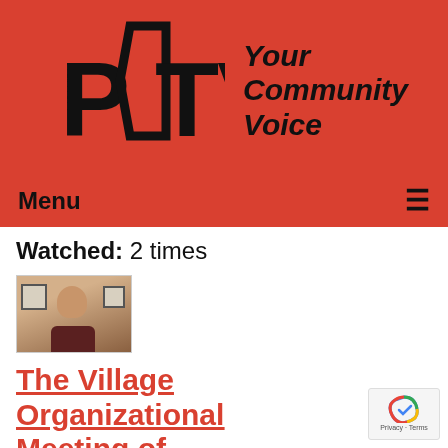[Figure (logo): PCTV logo with 'Your Community Voice' tagline on red background]
Menu ☰
Watched: 2 times
[Figure (photo): Thumbnail of a man in dark shirt with framed pictures on wall behind him]
The Village Organizational Meeting of 09/29/2020
Air date: 09/29/2020